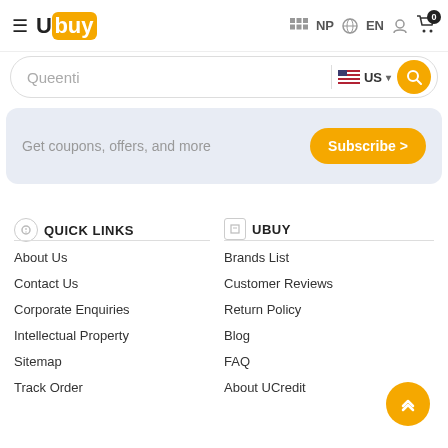Ubuy NP EN
Queenti US
Get coupons, offers, and more Subscribe >
QUICK LINKS
UBUY
About Us
Brands List
Contact Us
Customer Reviews
Corporate Enquiries
Return Policy
Intellectual Property
Blog
Sitemap
FAQ
Track Order
About UCredit